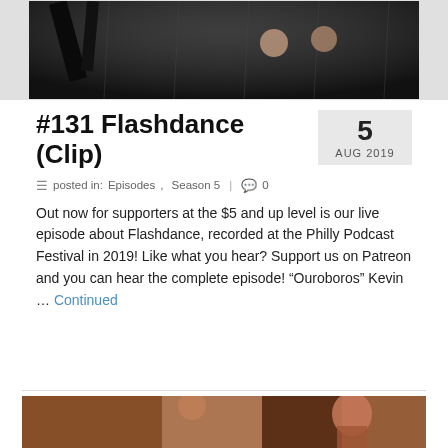[Figure (photo): Top portion of a photo showing a dark scene with figures, possibly dancers, against a wet or rain-soaked surface]
#131 Flashdance (Clip)
5
AUG 2019
posted in: Episodes, Season 5  |  0
Out now for supporters at the $5 and up level is our live episode about Flashdance, recorded at the Philly Podcast Festival in 2019! Like what you hear? Support us on Patreon and you can hear the complete episode! “Ouroboros” Kevin … Continued
[Figure (photo): Bottom partial photo showing people in a scene, appears to be a movie or theater still with warm brown tones]